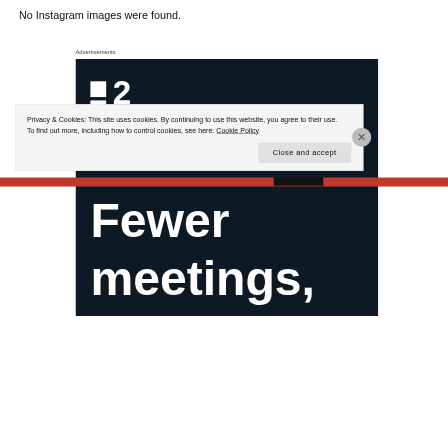No Instagram images were found.
Advertisements
[Figure (screenshot): Dark navy advertisement banner featuring a logo with two small squares and the number '2', and large white bold text reading 'Fewer meetings,']
Privacy & Cookies: This site uses cookies. By continuing to use this website, you agree to their use.
To find out more, including how to control cookies, see here: Cookie Policy
Close and accept